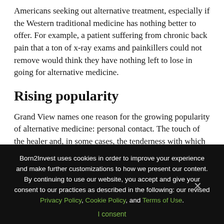Americans seeking out alternative treatment, especially if the Western traditional medicine has nothing better to offer. For example, a patient suffering from chronic back pain that a ton of x-ray exams and painkillers could not remove would think they have nothing left to lose in going for alternative medicine.
Rising popularity
Grand View names one reason for the growing popularity of alternative medicine: personal contact. The touch of the healer and, in some cases, the tenderness with which some therapies are administered to the patient's body can be a
Born2Invest uses cookies in order to improve your experience and make further customizations to how we present our content. By continuing to use our website, you accept and give your consent to our practices as described in the following: our revised Privacy Policy, Cookie Policy, and Terms of Use.
I consent